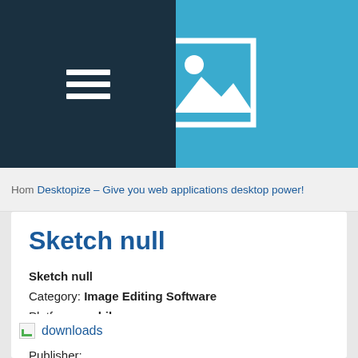[Figure (screenshot): Website header with dark navy hamburger menu on the left and a sky-blue background with a white image placeholder icon in the center]
Desktopize – Give you web applications desktop power!
Sketch null
Sketch null
Category: Image Editing Software
Platform: mobile
License: Purchase
Publisher:
downloads